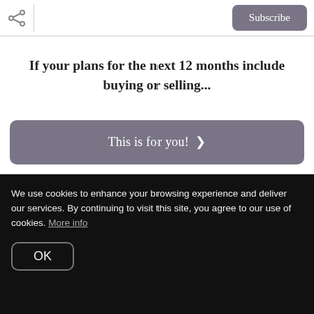Subscribe
If your plans for the next 12 months include buying or selling...
This is for you! >
Plant What You Can
We use cookies to enhance your browsing experience and deliver our services. By continuing to visit this site, you agree to our use of cookies. More info
OK